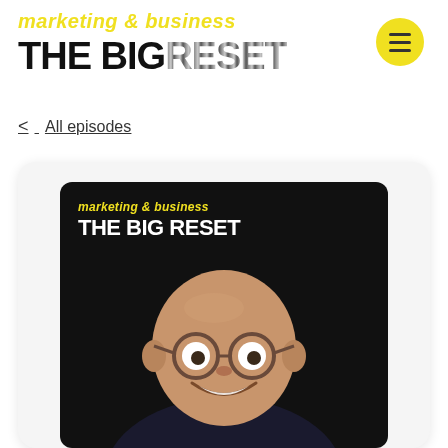marketing & business THE BIG RESET
< All episodes
[Figure (illustration): Podcast cover image showing 'marketing & business THE BIG RESET' branding on dark background with a bald man with glasses smiling, shown from chest up]